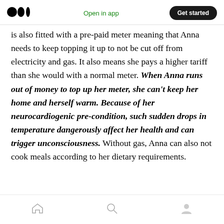Medium logo | Open in app | Get started
is also fitted with a pre-paid meter meaning that Anna needs to keep topping it up to not be cut off from electricity and gas. It also means she pays a higher tariff than she would with a normal meter. When Anna runs out of money to top up her meter, she can't keep her home and herself warm. Because of her neurocardiogenic pre-condition, such sudden drops in temperature dangerously affect her health and can trigger unconsciousness. Without gas, Anna can also not cook meals according to her dietary requirements.
Home | Search | Profile